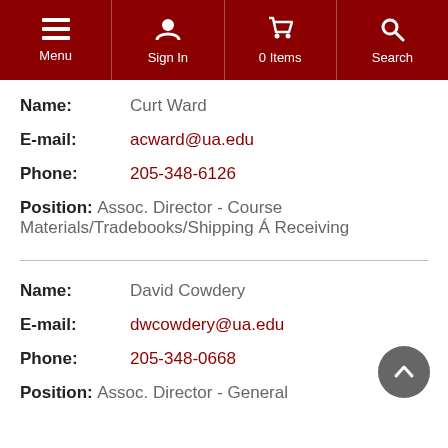Menu  Sign In  0 Items  Search
Name: Curt Ward
E-mail: acward@ua.edu
Phone: 205-348-6126
Position: Assoc. Director - Course Materials/Tradebooks/Shipping Á Receiving
Name: David Cowdery
E-mail: dwcowdery@ua.edu
Phone: 205-348-0668
Position: Assoc. Director - General